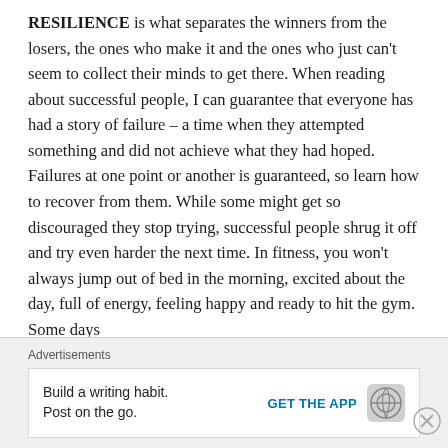RESILIENCE is what separates the winners from the losers, the ones who make it and the ones who just can't seem to collect their minds to get there. When reading about successful people, I can guarantee that everyone has had a story of failure – a time when they attempted something and did not achieve what they had hoped. Failures at one point or another is guaranteed, so learn how to recover from them. While some might get so discouraged they stop trying, successful people shrug it off and try even harder the next time. In fitness, you won't always jump out of bed in the morning, excited about the day, full of energy, feeling happy and ready to hit the gym. Some days
Advertisements
Build a writing habit. Post on the go. GET THE APP